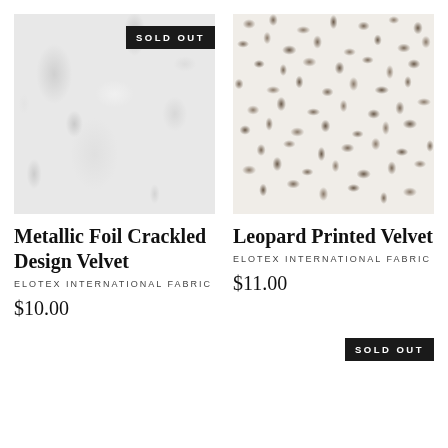[Figure (photo): Metallic foil crackled velvet fabric texture in light silver-white with SOLD OUT badge in top right corner]
[Figure (photo): Leopard printed velvet fabric texture in cream/white with brown spots pattern]
Metallic Foil Crackled Design Velvet
Leopard Printed Velvet
ELOTEX INTERNATIONAL FABRIC
ELOTEX INTERNATIONAL FABRIC
$10.00
$11.00
SOLD OUT